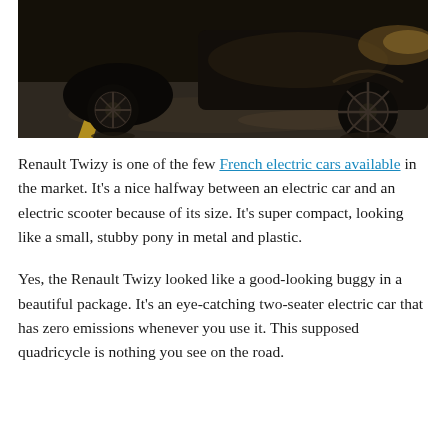[Figure (photo): Photo of Renault Twizy electric vehicles shot from a low angle in a parking lot. Dark, dramatic lighting with yellow parking line visible. Shows the wheels and undercarriage of the compact vehicles.]
Renault Twizy is one of the few French electric cars available in the market. It's a nice halfway between an electric car and an electric scooter because of its size. It's super compact, looking like a small, stubby pony in metal and plastic.
Yes, the Renault Twizy looked like a good-looking buggy in a beautiful package. It's an eye-catching two-seater electric car that has zero emissions whenever you use it. This supposed quadricycle is nothing you see on the road.